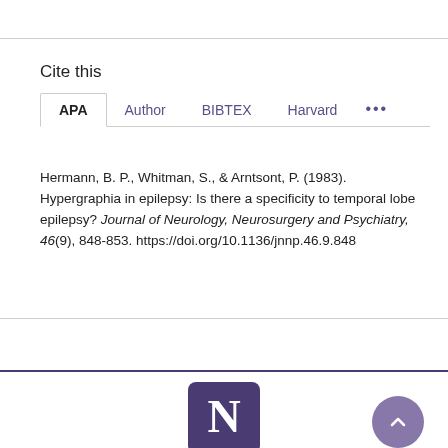Cite this
APA | Author | BIBTEX | Harvard | ...
Hermann, B. P., Whitman, S., & Arntsont, P. (1983). Hypergraphia in epilepsy: Is there a specificity to temporal lobe epilepsy? Journal of Neurology, Neurosurgery and Psychiatry, 46(9), 848-853. https://doi.org/10.1136/jnnp.46.9.848
[Figure (logo): Northwestern University N logo in purple rounded square]
[Figure (other): Scroll-to-top button, purple circle with upward chevron]